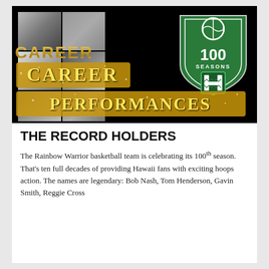[Figure (photo): Banner image with black background showing a collage of Hawaii Rainbow Warriors basketball photos on the left, a '100 Seasons' shield badge logo in green and white on the right, and gold glitter text reading 'CAREER PERFORMANCES' at the bottom]
THE RECORD HOLDERS
The Rainbow Warrior basketball team is celebrating its 100th season. That's ten full decades of providing Hawaii fans with exciting hoops action. The names are legendary: Bob Nash, Tom Henderson, Gavin Smith, Reggie Cross